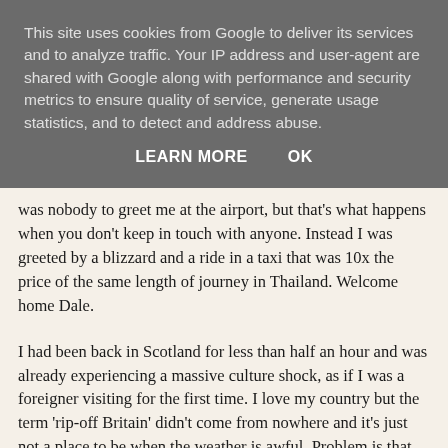This site uses cookies from Google to deliver its services and to analyze traffic. Your IP address and user-agent are shared with Google along with performance and security metrics to ensure quality of service, generate usage statistics, and to detect and address abuse.
LEARN MORE   OK
was nobody to greet me at the airport, but that's what happens when you don't keep in touch with anyone. Instead I was greeted by a blizzard and a ride in a taxi that was 10x the price of the same length of journey in Thailand. Welcome home Dale.
I had been back in Scotland for less than half an hour and was already experiencing a massive culture shock, as if I was a foreigner visiting for the first time. I love my country but the term 'rip-off Britain' didn't come from nowhere and it's just not a place to be when the weather is awful. Problem is that the weather is awful most of the time.
The great comedian Billy Connolly once said that there are two seasons in Scotland, winter and July. The big in also